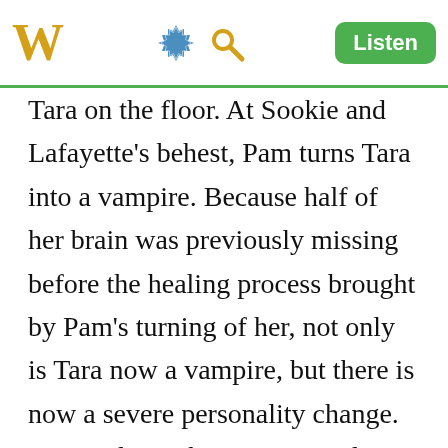W [gear icon] [search icon] Listen
Tara on the floor. At Sookie and Lafayette's behest, Pam turns Tara into a vampire. Because half of her brain was previously missing before the healing process brought by Pam's turning of her, not only is Tara now a vampire, but there is now a severe personality change. Tara and Pam become very close over the course of season 5 and Tara begins to deeply care for her new maker. At the end of the season, Tara rescued Pam from the Vampire Authority and the two shared a